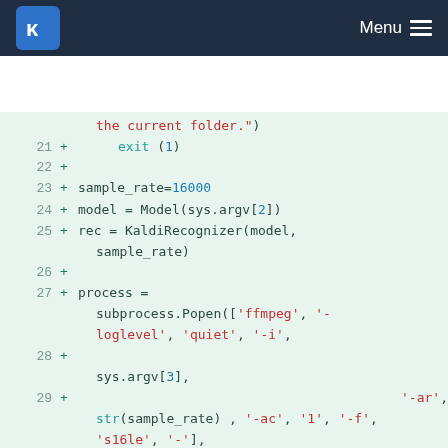KDE Menu
[Figure (screenshot): Code diff view showing Python lines 21-32 with additions marked by + signs. Background is light green/mint. Code includes exit(1), sample_rate=16000, model=Model(sys.argv[2]), rec=KaldiRecognizer(model, sample_rate), process=subprocess.Popen with ffmpeg arguments, WORDS_PER_LINE=7.]